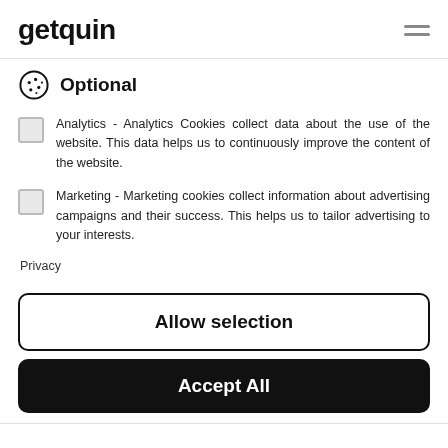getquin
Optional
Analytics - Analytics Cookies collect data about the use of the website. This data helps us to continuously improve the content of the website.
Marketing - Marketing cookies collect information about advertising campaigns and their success. This helps us to tailor advertising to your interests.
Privacy
Allow selection
Accept All